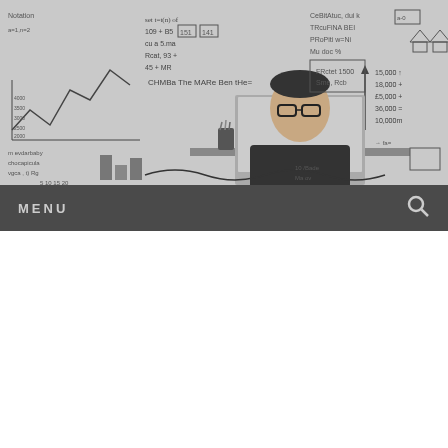[Figure (photo): Man in glasses sitting at a desk with a laptop, in front of a whiteboard covered with mathematical equations, charts, and diagrams.]
MENU
ETHICS
Privacy & Cookies: This site uses cookies. By continuing to use this website, you agree to their use.
To find out more, including how to control cookies, see here: Cookie Policy
Close and accept